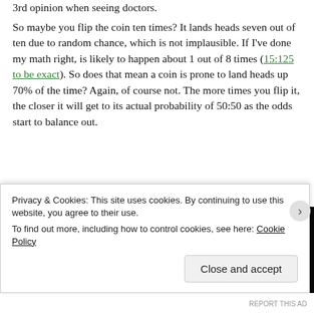3rd opinion when seeing doctors.
So maybe you flip the coin ten times? It lands heads seven out of ten due to random chance, which is not implausible. If I've done my math right, is likely to happen about 1 out of 8 times (15:125 to be exact). So does that mean a coin is prone to land heads up 70% of the time? Again, of course not. The more times you flip it, the closer it will get to its actual probability of 50:50 as the odds start to balance out.
[Figure (photo): Black and white photograph of a coin balanced on edge on a reflective surface against a dark background]
So when doing a clinical trial, the more people you can test, the
Privacy & Cookies: This site uses cookies. By continuing to use this website, you agree to their use.
To find out more, including how to control cookies, see here: Cookie Policy
Close and accept
REPORT THIS AD